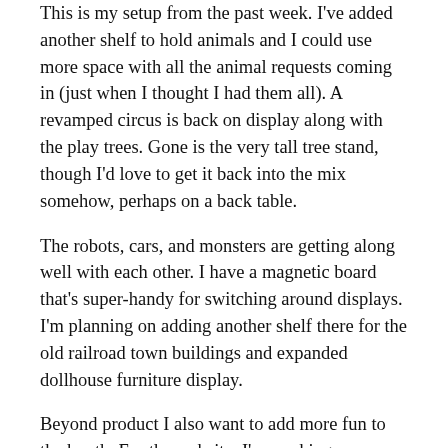This is my setup from the past week. I've added another shelf to hold animals and I could use more space with all the animal requests coming in (just when I thought I had them all). A revamped circus is back on display along with the play trees. Gone is the very tall tree stand, though I'd love to get it back into the mix somehow, perhaps on a back table.
The robots, cars, and monsters are getting along well with each other. I have a magnetic board that's super-handy for switching around displays. I'm planning on adding another shelf there for the old railroad town buildings and expanded dollhouse furniture display.
Beyond product I also want to add more fun to the booth. For the website, I'm working on a story that links all the different toy worlds together that I want to bring to the physical. You can see a piece of it in the air. To the left of the sign post is a kids floating away holding onto a bunch of balloons. He couldn't afford a hot-air balloon ride at the circus, but he could buy helium balloons on the cheap (in